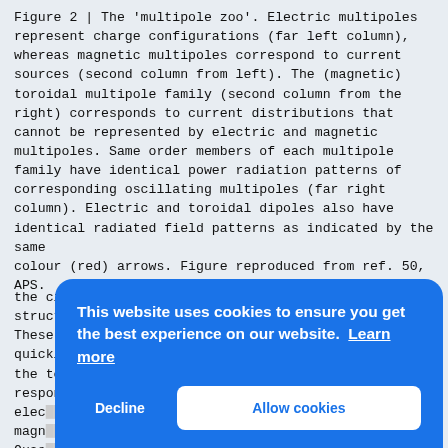Figure 2 | The 'multipole zoo'. Electric multipoles represent charge configurations (far left column), whereas magnetic multipoles correspond to current sources (second column from left). The (magnetic) toroidal multipole family (second column from the right) corresponds to current distributions that cannot be represented by electric and magnetic multipoles. Same order members of each multipole family have identical power radiation patterns of corresponding oscillating multipoles (far right column). Electric and toroidal dipoles also have identical radiated field patterns as indicated by the same colour (red) arrows. Figure reproduced from ref. 50, APS.
the circumference of a closed loop leading to a field structure similar to that of a toroidal solenoid. These initial observations were quickly followed by works aiming to further enhance the toroidal response and suppress the contributions of competing elec... magn... Quas... in a... to s... meta... meta... reso... opti... freq... detected. In parallel, fabrication difficulties were also suppress...